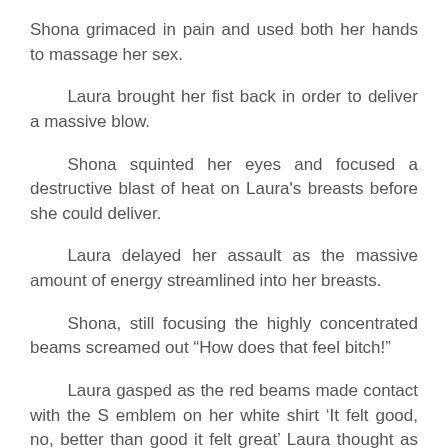Shona grimaced in pain and used both her hands to massage her sex.
Laura brought her fist back in order to deliver a massive blow.
Shona squinted her eyes and focused a destructive blast of heat on Laura's breasts before she could deliver.
Laura delayed her assault as the massive amount of energy streamlined into her breasts.
Shona, still focusing the highly concentrated beams screamed out “How does that feel bitch!”
Laura gasped as the red beams made contact with the S emblem on her white shirt ‘It felt good, no, better than good it felt great’ Laura thought as her breasts turned into red orbs glowing through her white skin-tight shirt.